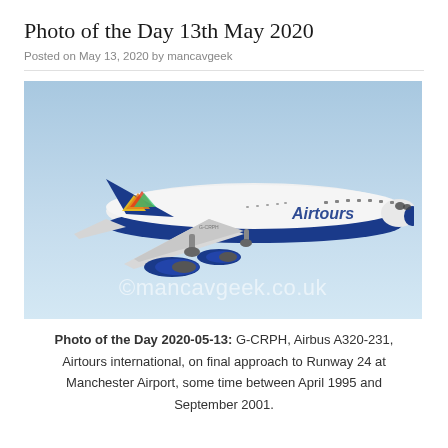Photo of the Day 13th May 2020
Posted on May 13, 2020 by mancavgeek
[Figure (photo): An Airtours International Airbus A320-231 (registration G-CRPH) on final approach to Runway 24 at Manchester Airport, photographed against a blue sky. The aircraft is white with blue lower fuselage and tail featuring the Airtours sun logo. A copyright watermark reads ©mancavgeek.co.uk.]
Photo of the Day 2020-05-13: G-CRPH, Airbus A320-231, Airtours international, on final approach to Runway 24 at Manchester Airport, some time between April 1995 and September 2001.